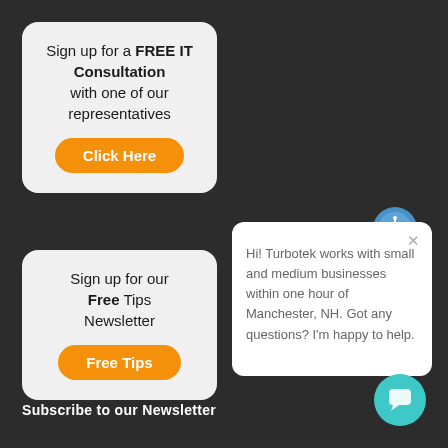Sign up for a FREE IT Consultation with one of our representatives
Click Here
Sign up for our Free Tips Newsletter
Free Tips
[Figure (illustration): Chat bot avatar icon with blue circular background and robot face]
Hi! Turbotek works with small and medium businesses within one hour of Manchester, NH. Got any questions? I'm happy to help.
[Figure (illustration): Teal circular chat button icon with speech bubble symbol]
Subscribe to our Newsletter